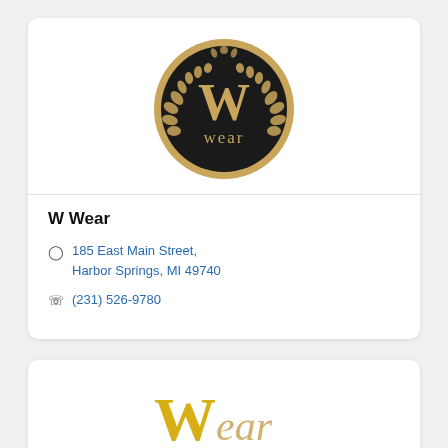[Figure (logo): W Wear circular black and gold logo sign with large W and laurel wreath, hanging outdoors]
W Wear
185 East Main Street, Harbor Springs, MI 49740
(231) 526-9780
[Figure (logo): Partial view of a second business logo, gold and white stylized text, partially visible at bottom of page]